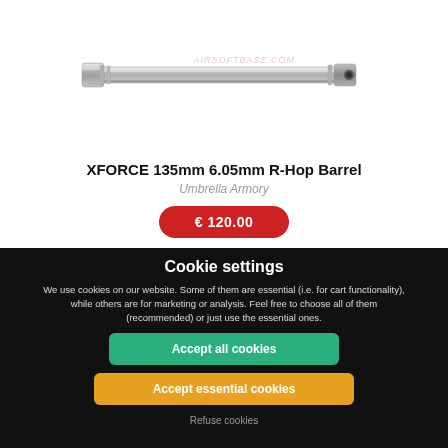[Figure (photo): A silver/metallic cylindrical airsoft inner barrel (XFORCE 135mm 6.05mm R-Hop Barrel) photographed against a white background, oriented diagonally from lower-left to upper-right. A faint watermark reading 'AIRSOFTBASE.COM' is visible.]
XFORCE 135mm 6.05mm R-Hop Barrel
Umbrella Armory
€ 120.00
Cookie settings
We use cookies on our website. Some of them are essential (i.e. for cart functionality), while others are for marketing or analysis. Feel free to choose all of them (recommended) or just use the essential ones.
Accept all cookies
Accept essential cookies
Refuse cookies